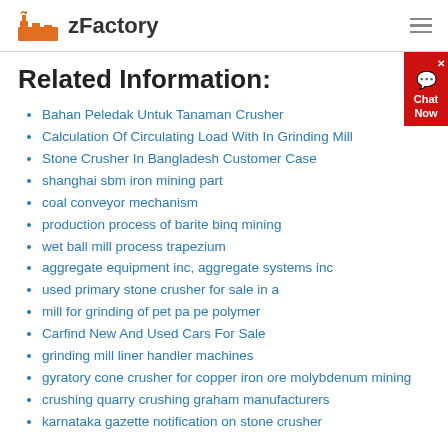zFactory
Related Information:
Bahan Peledak Untuk Tanaman Crusher
Calculation Of Circulating Load With In Grinding Mill
Stone Crusher In Bangladesh Customer Case
shanghai sbm iron mining part
coal conveyor mechanism
production process of barite binq mining
wet ball mill process trapezium
aggregate equipment inc, aggregate systems inc
used primary stone crusher for sale in a
mill for grinding of pet pa pe polymer
Carfind New And Used Cars For Sale
grinding mill liner handler machines
gyratory cone crusher for copper iron ore molybdenum mining
crushing quarry crushing graham manufacturers
karnataka gazette notification on stone crusher